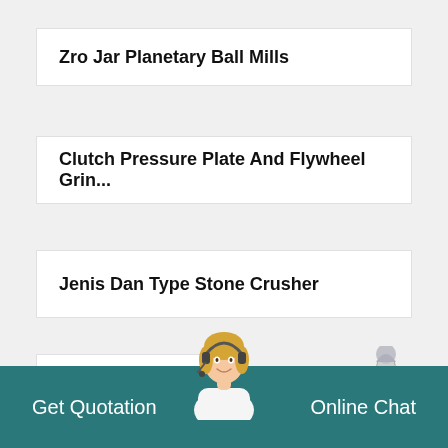Zro Jar Planetary Ball Mills
Clutch Pressure Plate And Flywheel Grin...
Jenis Dan Type Stone Crusher
Wet Grinder Chutney Maker Uk
[Figure (illustration): Rocket emoji illustration in the lower right area of the page]
[Figure (photo): Customer service agent - woman with headset smiling, overlapping the teal footer bar]
Get Quotation    Online Chat